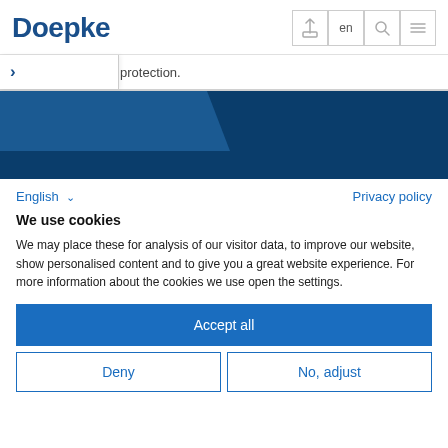Doepke
protection.
[Figure (screenshot): Dark blue banner/hero image area with lighter blue diagonal section at top-left]
English  Privacy policy
We use cookies
We may place these for analysis of our visitor data, to improve our website, show personalised content and to give you a great website experience. For more information about the cookies we use open the settings.
Accept all
Deny
No, adjust